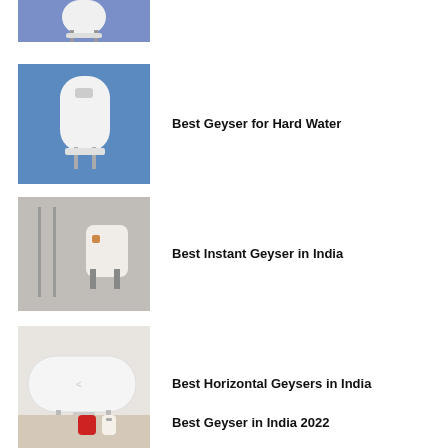[Figure (photo): Partially cropped white geyser/water heater on blue background, top portion cut off]
[Figure (photo): White storage water geyser mounted on blue wall]
Best Geyser for Hard Water
[Figure (photo): Instant water geyser mounted on grey concrete wall with pipes]
Best Instant Geyser in India
[Figure (photo): White horizontal water heater/geyser mounted on wall]
Best Horizontal Geysers in India
[Figure (photo): Geyser product partially visible at bottom of page]
Best Geyser in India 2022